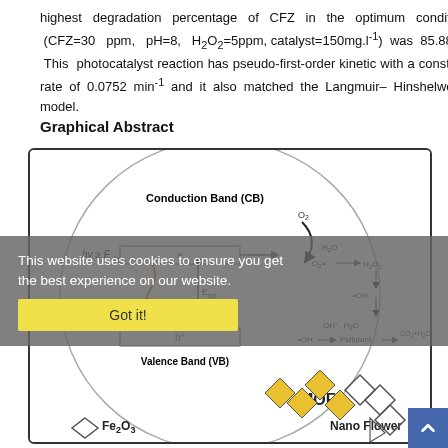highest degradation percentage of CFZ in the optimum condition (CFZ=30 ppm, pH=8, H₂O₂=5ppm, catalyst=150mg.l⁻¹) was 85.88%. This photocatalyst reaction has pseudo-first-order kinetic with a constant rate of 0.0752 min⁻¹ and it also matched the Langmuir–Hinshelwood model.
Graphical Abstract
[Figure (schematic): Graphical abstract showing photocatalytic degradation mechanism with conduction band (CB) and valence band (VB) energy levels, electron transfer, reactive oxygen species (O2, H2O, O2•⁻, H2O2, •OH), and MOF/Fe2O3 Nano Flower catalyst structure. Shows hν ≥ E_bg excitation, Ebg energy gap, and degradation pathway from Pollutant to CO2 + H2O + N2.]